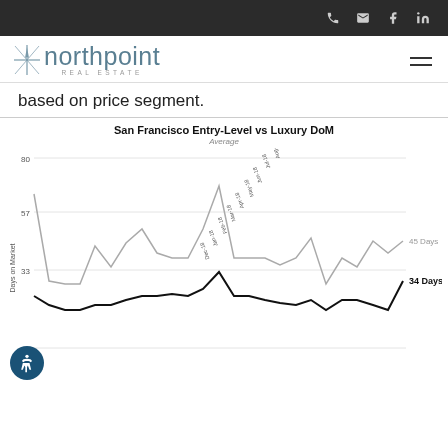northpoint REAL ESTATE — navigation icons
[Figure (logo): Northpoint Real Estate logo with star/compass icon]
based on price segment.
[Figure (line-chart): San Francisco Entry-Level vs Luxury DoM]